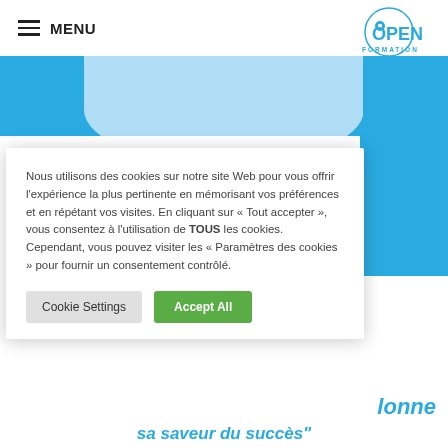≡ MENU
[Figure (logo): Open Formation logo — circle with eye/aperture icon, OPEN in bold teal letters, FORMATION beneath in smaller teal text]
[Figure (illustration): Blue banner hero area with light blue rounded arc shape at top center and solid blue rectangle at right]
Nous utilisons des cookies sur notre site Web pour vous offrir l'expérience la plus pertinente en mémorisant vos préférences et en répétant vos visites. En cliquant sur « Tout accepter », vous consentez à l'utilisation de TOUS les cookies. Cependant, vous pouvez visiter les « Paramètres des cookies » pour fournir un consentement contrôlé.
Cookie Settings   Accept All
lonne
sa saveur du succès"